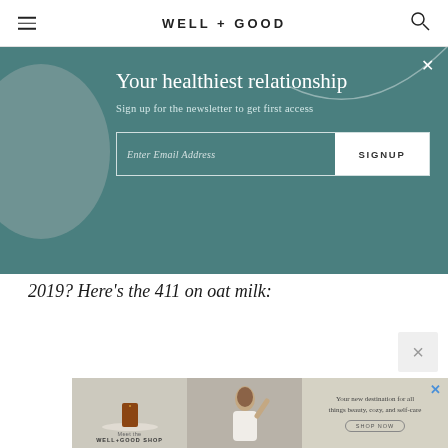WELL+GOOD
[Figure (screenshot): Newsletter signup modal overlay with teal background. Title: 'Your healthiest relationship'. Subtitle: 'Sign up for the newsletter to get first access'. Email input field and SIGNUP button. Decorative gray circle on left, X close button top right.]
2019? Here's the 411 on oat milk:
[Figure (screenshot): Well+Good Shop advertisement banner showing three panels: left panel with candle product and 'Meet the WELL+GOOD SHOP' text, middle panel with woman touching her hair, right panel with text 'Your new destination for all things beauty, cozy, and self-care' and a SHOP NOW button. Blue X close button at top right.]